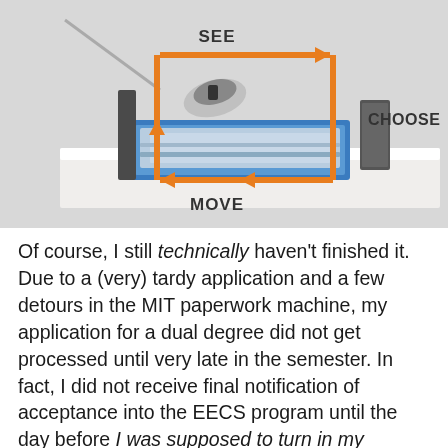[Figure (photo): Photo of a robotic machine on a white pedestal with orange arrows forming a loop labeled SEE (top), CHOOSE (right), MOVE (bottom). The machine appears to be a pick-and-place or CNC-style robot with blue aluminum extrusion framing and a camera/gripper arm extending above.]
Of course, I still technically haven't finished it. Due to a (very) tardy application and a few detours in the MIT paperwork machine, my application for a dual degree did not get processed until very late in the semester. In fact, I did not receive final notification of acceptance into the EECS program until the day before I was supposed to turn in my